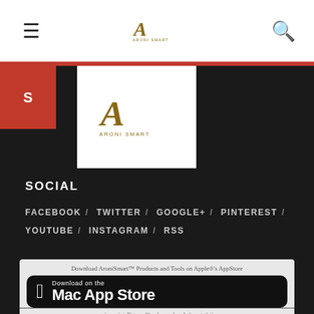[Figure (logo): AroniSmart logo in navigation bar]
[Figure (logo): AroniSmart logo in dropdown white box]
SOCIAL
FACEBOOK / TWITTER / GOOGLE+ / PINTEREST / YOUTUBE / INSTAGRAM / RSS
[Figure (screenshot): Mac App Store download banner with tagline: Download AroniSmart Products and Tools on Apple's AppStore and subtitle: aronismartintelligence: advanced analytics, statistics, machine learning, data science tools]